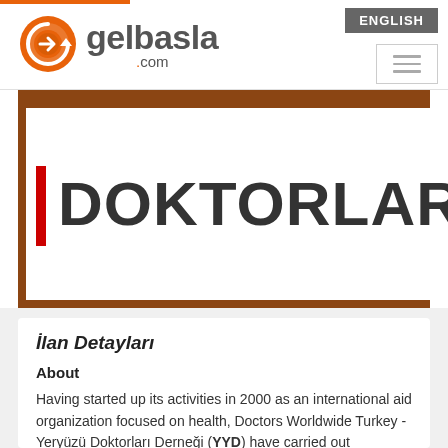[Figure (logo): gelbasla.com logo with orange circular arrow icon]
[Figure (screenshot): Banner image with brown border showing 'DOKTORLARI' text in large bold letters with a red vertical bar on the left]
İlan Detayları
About
Having started up its activities in 2000 as an international aid organization focused on health, Doctors Worldwide Turkey - Yeryüzü Doktorları Derneği (YYD) have carried out hundreds of projects so far with the support of more than 30 thousand